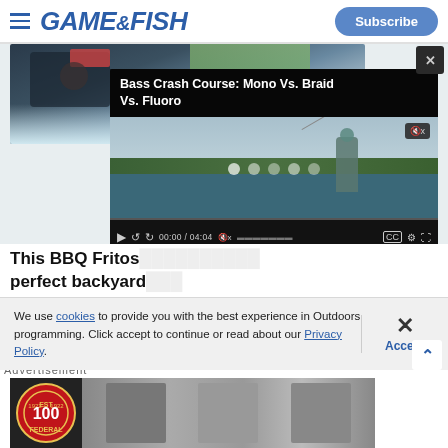GAME&FISH — Subscribe
[Figure (screenshot): Website screenshot showing Game & Fish magazine header with hamburger menu, Game & Fish logo in blue italic, and Subscribe button. Below is an overlapping fishing equipment photo and a video player overlay titled 'Bass Crash Course: Mono Vs. Braid Vs. Fluoro' showing a person fishing at a river, with playback controls showing 00:00 / 04:04.]
This BBQ Fritos… perfect backyard…
Ingredients:
We use cookies to provide you with the best experience in Outdoors programming. Click accept to continue or read about our Privacy Policy.
[Figure (logo): Federal 100 years anniversary logo circular badge, alongside black and white photos of people in a technology/laboratory setting]
Advertisement